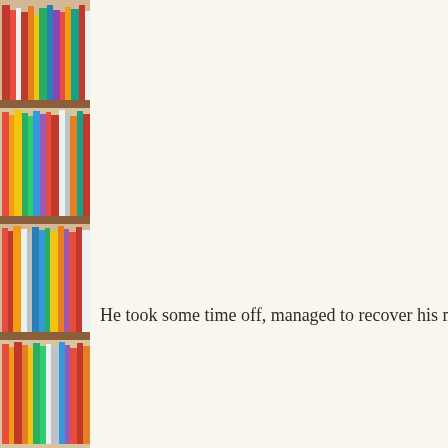[Figure (photo): A tall bookshelf filled with colorful books arranged on multiple shelves, photographed close-up on the left side of the page. The shelf is wooden brown with books of various colors including red, orange, yellow, green, blue, and white spines.]
He took some time off, managed to recover his mu